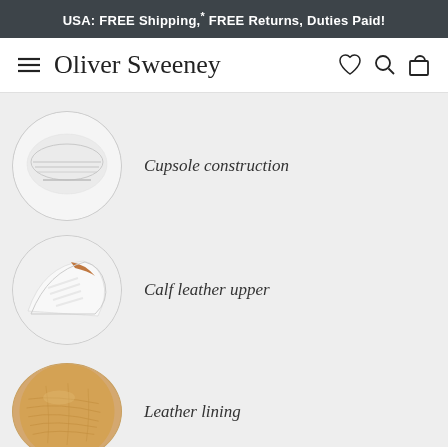USA: FREE Shipping,* FREE Returns, Duties Paid!
[Figure (logo): Oliver Sweeney brand logo with hamburger menu on left and heart, search, bag icons on right]
[Figure (photo): Close-up circular photo of white shoe cupsole construction]
Cupsole construction
[Figure (photo): Close-up circular photo of calf leather upper on white shoe with brown lining visible]
Calf leather upper
[Figure (photo): Close-up circular photo of tan/beige leather lining]
Leather lining